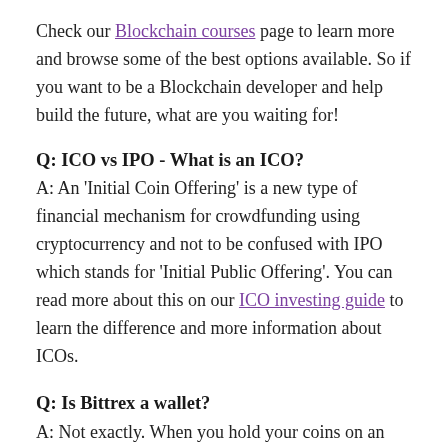Check our Blockchain courses page to learn more and browse some of the best options available. So if you want to be a Blockchain developer and help build the future, what are you waiting for!
Q: ICO vs IPO - What is an ICO?
A: An 'Initial Coin Offering' is a new type of financial mechanism for crowdfunding using cryptocurrency and not to be confused with IPO which stands for 'Initial Public Offering'. You can read more about this on our ICO investing guide to learn the difference and more information about ICOs.
Q: Is Bittrex a wallet?
A: Not exactly. When you hold your coins on an exchange, you essentially have a hot wallet...